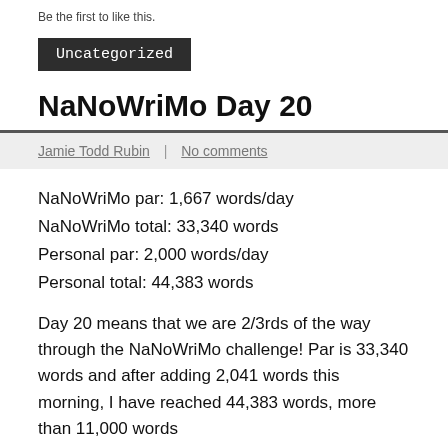Be the first to like this.
Uncategorized
NaNoWriMo Day 20
Jamie Todd Rubin | No comments
NaNoWriMo par: 1,667 words/day
NaNoWriMo total: 33,340 words
Personal par: 2,000 words/day
Personal total: 44,383 words
Day 20 means that we are 2/3rds of the way through the NaNoWriMo challenge! Par is 33,340 words and after adding 2,041 words this morning, I have reached 44,383 words, more than 11,000 words